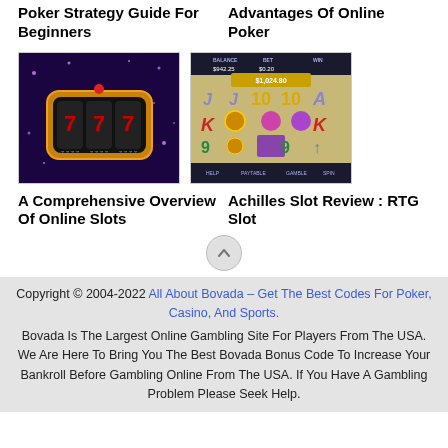Poker Strategy Guide For Beginners
Advantages Of Online Poker
[Figure (photo): Slot machine showing 777 on purple background with sparkles]
[Figure (screenshot): Achilles slot game screenshot showing reels with letters, numbers and symbols, with BALANCE, BET, WIN display at top showing $942.25, $0.20 and $1,024.80]
A Comprehensive Overview Of Online Slots
Achilles Slot Review : RTG Slot
Copyright © 2004-2022 All About Bovada – Get The Best Codes For Poker, Casino, And Sports. Bovada Is The Largest Online Gambling Site For Players From The USA. We Are Here To Bring You The Best Bovada Bonus Code To Increase Your Bankroll Before Gambling Online From The USA. If You Have A Gambling Problem Please Seek Help.